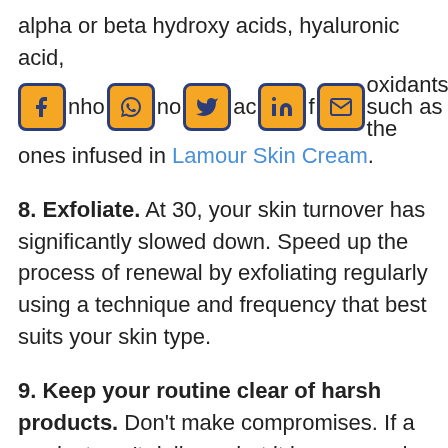alpha or beta hydroxy acids, hyaluronic acid, nho no ac f oxidants such as the ones infused in Lamour Skin Cream.
8. Exfoliate. At 30, your skin turnover has significantly slowed down. Speed up the process of renewal by exfoliating regularly using a technique and frequency that best suits your skin type.
9. Keep your routine clear of harsh products. Don't make compromises. If a product can't deliver what it is supposed to deliver without irritating your skin, leave it.